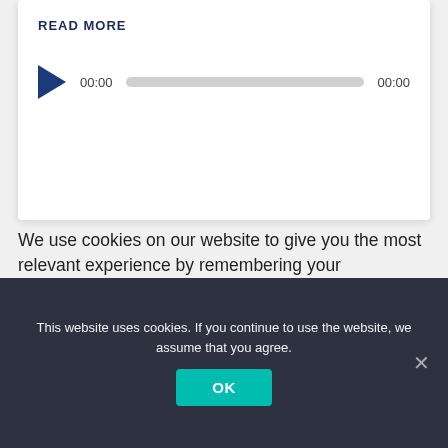READ MORE
[Figure (other): Audio player widget with play button, time display '00:00', progress bar, and end time '00:00']
We use cookies on our website to give you the most relevant experience by remembering your preferences and repeat visits. By clicking “Accept All”, you consent to the use of all the cookies. However, you may visit “Cookie...
This website uses cookies. If you continue to use the website, we assume that you agree.